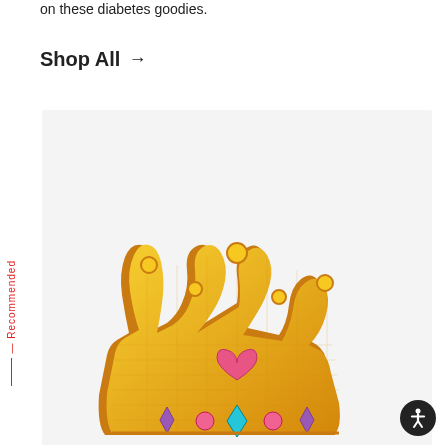on these diabetes goodies.
Shop All →
[Figure (photo): A decorative embroidered crown patch with gold/yellow coloring, pink heart in the center, and colorful gemstone decorations (purple, pink, teal diamonds) along the bottom. Set against a light gray background.]
— Recommended